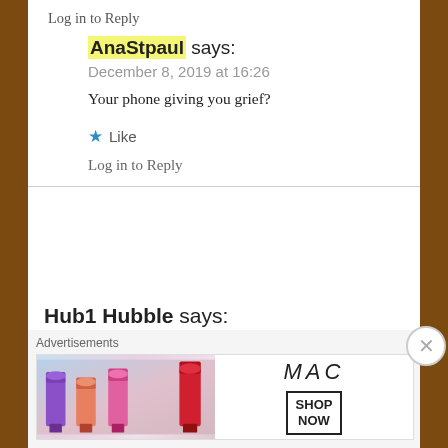Log in to Reply
AnaStpaul says:
December 8, 2019 at 16:26
Your phone giving you grief?
★ Like
Log in to Reply
Hub1 Hubble says:
December 9, 2019 at 01:59
Sort of but it's more due to my incompetence.
★ Liked by 1 person
Advertisements
[Figure (illustration): MAC cosmetics advertisement banner showing lipsticks and MAC logo with SHOP NOW button]